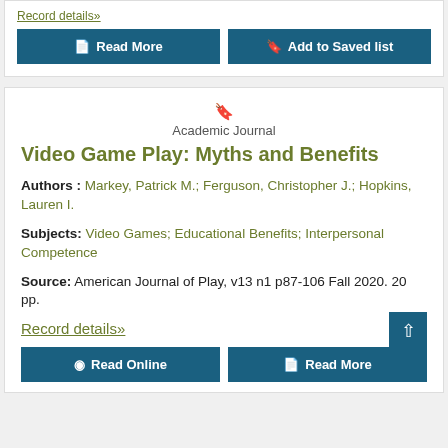Record details»
Read More
Add to Saved list
Academic Journal
Video Game Play: Myths and Benefits
Authors : Markey, Patrick M.; Ferguson, Christopher J.; Hopkins, Lauren I.
Subjects: Video Games; Educational Benefits; Interpersonal Competence
Source: American Journal of Play, v13 n1 p87-106 Fall 2020. 20 pp.
Record details»
Read Online
Read More